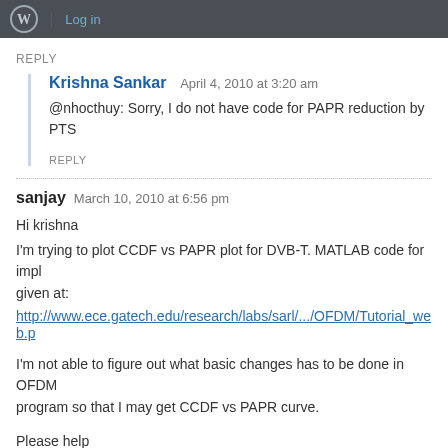Log in
REPLY
Krishna Sankar   April 4, 2010 at 3:20 am
@nhocthuy: Sorry, I do not have code for PAPR reduction by PTS
REPLY
sanjay   March 10, 2010 at 6:56 pm
Hi krishna
I'm trying to plot CCDF vs PAPR plot for DVB-T. MATLAB code for impl given at:
http://www.ece.gatech.edu/research/labs/sarl/.../OFDM/Tutorial_web.p
I'm not able to figure out what basic changes has to be done in OFDM program so that I may get CCDF vs PAPR curve.
Please help